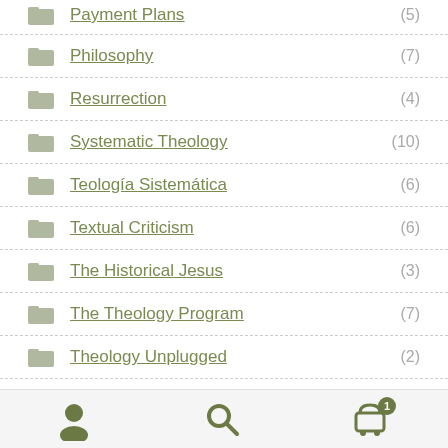Payment Plans (5)
Philosophy (7)
Resurrection (4)
Systematic Theology (10)
Teología Sistemática (6)
Textual Criticism (6)
The Historical Jesus (3)
The Theology Program (7)
Theology Unplugged (2)
Navigation bar with user, search, and cart icons